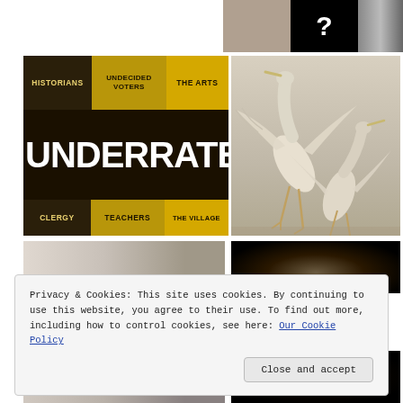[Figure (photo): Partial face/person image and black square with question mark, and grayscale portrait on right]
[Figure (illustration): Book or magazine cover graphic titled UNDERRATED with categories: Historians, Undecided Voters, The Arts, Clergy, Teachers, The Village on dark background with gold/yellow panels]
[Figure (photo): Two white egret birds fighting or dancing in mid-air against light background]
[Figure (photo): Partial grayscale face/head on left, dark/black image on right]
Privacy & Cookies: This site uses cookies. By continuing to use this website, you agree to their use. To find out more, including how to control cookies, see here: Our Cookie Policy
[Figure (photo): Grayscale portrait on left, dark circular image on right at bottom]